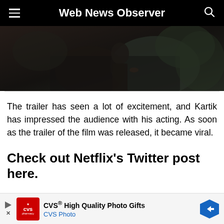Web News Observer
[Figure (photo): Dark cinematic still from a film, showing a figure in a dim, moody outdoor setting]
The trailer has seen a lot of excitement, and Kartik has impressed the audience with his acting. As soon as the trailer of the film was released, it became viral.
Check out Netflix’s Twitter post here.
[Figure (other): CVS Pharmacy advertisement banner: CVS High Quality Photo Gifts, CVS Photo]